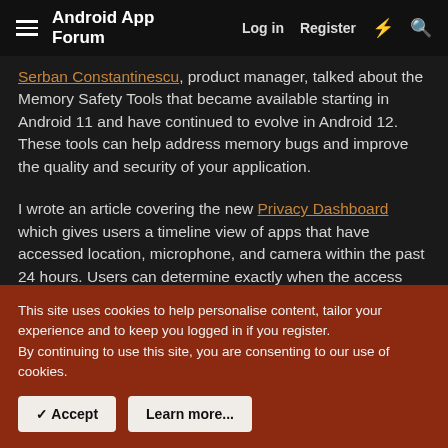Android App Forum | Log in | Register
Serban Constantinescu, product manager, talked about the Memory Safety Tools that became available starting in Android 11 and have continued to evolve in Android 12. These tools can help address memory bugs and improve the quality and security of your application.
I wrote an article covering the new Privacy Dashboard which gives users a timeline view of apps that have accessed location, microphone, and camera within the past 24 hours. Users can determine exactly when the access occurred, and they have the option to revoke permissions. I went over how to use Data Access Auditing APIs to track data access within your
This site uses cookies to help personalise content, tailor your experience and to keep you logged in if you register.
By continuing to use this site, you are consenting to our use of cookies.
✓ Accept
Learn more...